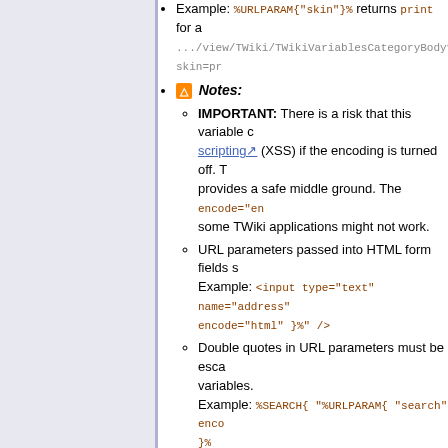Example: %URLPARAM{"skin"}% returns print for a .../view/TWiki/TWikiVariablesCategoryBody?skin=pr
Notes: IMPORTANT: There is a risk that this variable could be used for cross-site scripting (XSS) if the encoding is turned off. The encode="en" provides a safe middle ground. The encode="en" some TWiki applications might not work.
URL parameters passed into HTML form fields should use encode="html". Example: <input type="text" name="address" encode="html" }%" />
Double quotes in URL parameters must be escaped when passed into other variables. Example: %SEARCH{ "%URLPARAM{ "search" enco }%
When used in a template topic, this variable will is used to create a new topic. See TWikiTempla details.
Watch out for TWiki internal parameters, such as they have a special meaning in TWiki. Common specific parameters are documented at TWikiSc
If you have %URLPARAM{ in the value of a URL pa <nop>URLPARAM{. This is to prevent an infinite lo